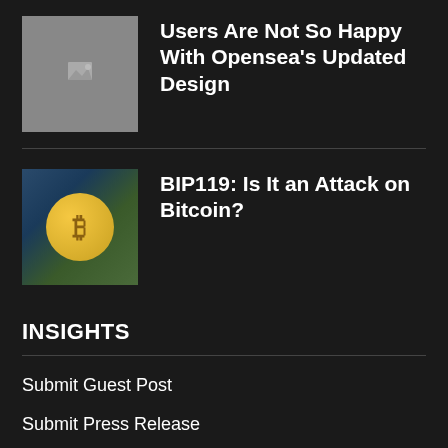[Figure (photo): Placeholder image thumbnail with grey background for article about OpenSea updated design]
Users Are Not So Happy With Opensea's Updated Design
[Figure (photo): Bitcoin coin image on a blurred background with colorful chips]
BIP119: Is It an Attack on Bitcoin?
INSIGHTS
Submit Guest Post
Submit Press Release
Submit Your Events
Terms and Conditions
Editorial Policy
Cookie Policy
Contact Us
About Us